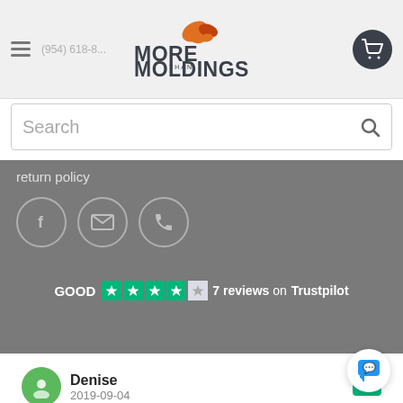More Than Moldings — website header with navigation, logo, and cart
Search
return policy
[Figure (infographic): Three circular social media icons: Facebook (f), email (envelope), phone]
GOOD  7 reviews on Trustpilot
Denise
2019-09-04
Very easy to work with and they have a great selection of what I needed for my client. Will use this company again.